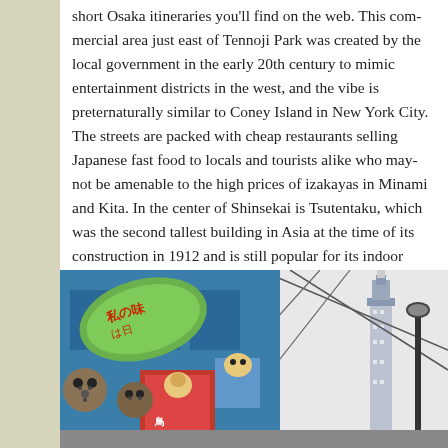short Osaka itineraries you'll find on the web. This commercial area just east of Tennoji Park was created by the local government in the early 20th century to mimic entertainment districts in the west, and the vibe is preternaturally similar to Coney Island in New York City. The streets are packed with cheap restaurants selling Japanese fast food to locals and tourists alike who may not be amenable to the high prices of izakayas in Minami and Kita. In the center of Shinsekai is Tsutentaku, which was the second tallest building in Asia at the time of its construction in 1912 and is still popular for its indoor exhibits and observation decks.
[Figure (photo): Street scene in Shinsekai, Osaka, Japan, showing colorful shop signs with Japanese text including a large green lantern sign, blue building facade, decorative character figures on a red sign, street lamp, and Tsutentaku tower visible in the background.]